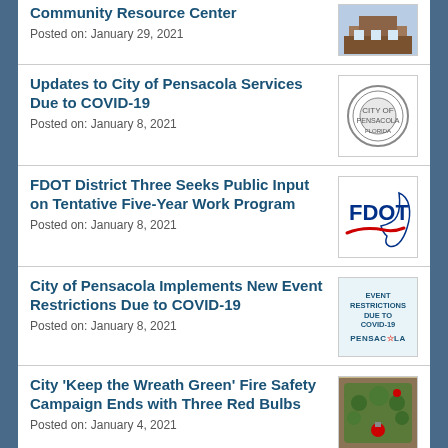Community Resource Center
Posted on: January 29, 2021
Updates to City of Pensacola Services Due to COVID-19
Posted on: January 8, 2021
FDOT District Three Seeks Public Input on Tentative Five-Year Work Program
Posted on: January 8, 2021
City of Pensacola Implements New Event Restrictions Due to COVID-19
Posted on: January 8, 2021
City 'Keep the Wreath Green' Fire Safety Campaign Ends with Three Red Bulbs
Posted on: January 4, 2021